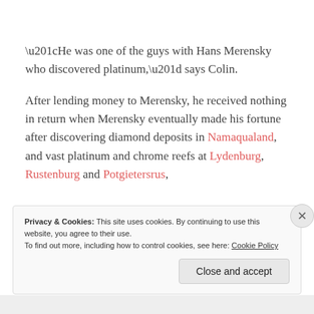“He was one of the guys with Hans Merensky who discovered platinum,” says Colin.
After lending money to Merensky, he received nothing in return when Merensky eventually made his fortune after discovering diamond deposits in Namaqualand, and vast platinum and chrome reefs at Lydenburg, Rustenburg and Potgietersrus,
Privacy & Cookies: This site uses cookies. By continuing to use this website, you agree to their use.
To find out more, including how to control cookies, see here: Cookie Policy
Close and accept